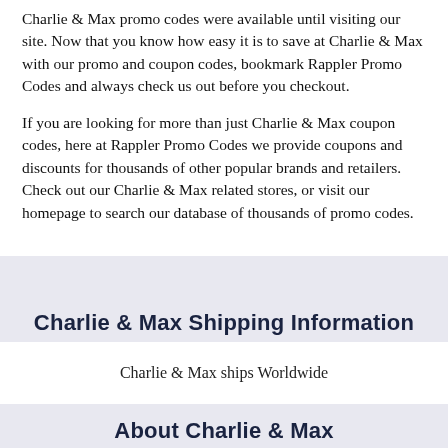Charlie & Max promo codes were available until visiting our site. Now that you know how easy it is to save at Charlie & Max with our promo and coupon codes, bookmark Rappler Promo Codes and always check us out before you checkout.
If you are looking for more than just Charlie & Max coupon codes, here at Rappler Promo Codes we provide coupons and discounts for thousands of other popular brands and retailers. Check out our Charlie & Max related stores, or visit our homepage to search our database of thousands of promo codes.
Charlie & Max Shipping Information
Charlie & Max ships Worldwide
About Charlie & Max